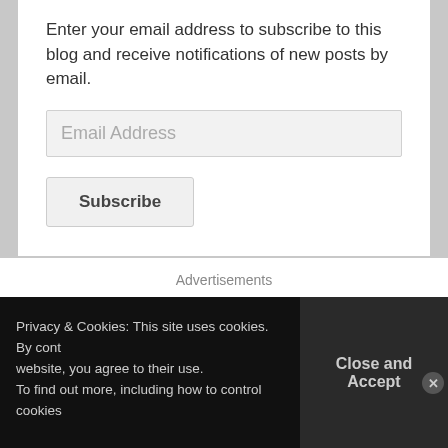Enter your email address to subscribe to this blog and receive notifications of new posts by email.
Email Address
Subscribe
Join 294 other followers
Advertisements
Privacy & Cookies: This site uses cookies. By continuing to use this website, you agree to their use.
To find out more, including how to control cookies,
Close and Accept